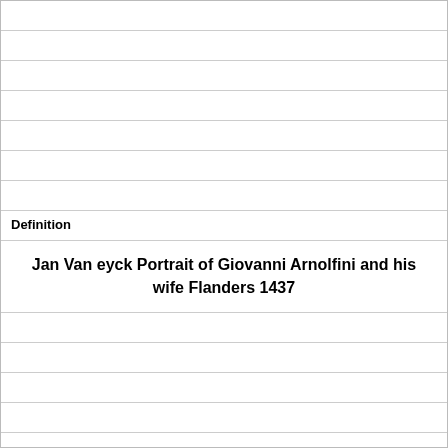Definition
Jan Van eyck Portrait of Giovanni Arnolfini and his wife Flanders 1437
Term
[image]